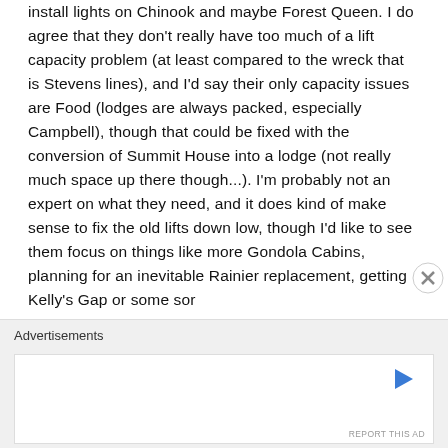install lights on Chinook and maybe Forest Queen. I do agree that they don't really have too much of a lift capacity problem (at least compared to the wreck that is Stevens lines), and I'd say their only capacity issues are Food (lodges are always packed, especially Campbell), though that could be fixed with the conversion of Summit House into a lodge (not really much space up there though...). I'm probably not an expert on what they need, and it does kind of make sense to fix the old lifts down low, though I'd like to see them focus on things like more Gondola Cabins, planning for an inevitable Rainier replacement, getting Kelly's Gap or some sor
Advertisements